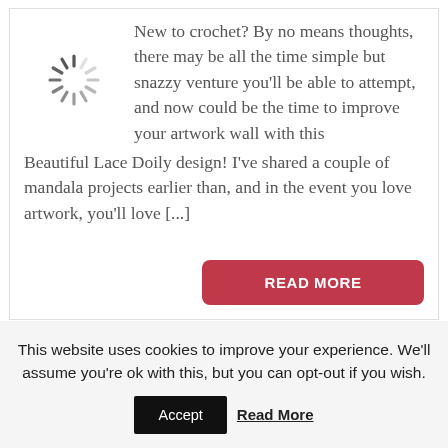[Figure (other): Loading spinner icon (radial lines in dark gray, partially faded, indicating a loading state)]
New to crochet? By no means thoughts, there may be all the time simple but snazzy venture you'll be able to attempt, and now could be the time to improve your artwork wall with this Beautiful Lace Doily design! I've shared a couple of mandala projects earlier than, and in the event you love artwork, you'll love [...]
READ MORE
This website uses cookies to improve your experience. We'll assume you're ok with this, but you can opt-out if you wish.
Accept
Read More